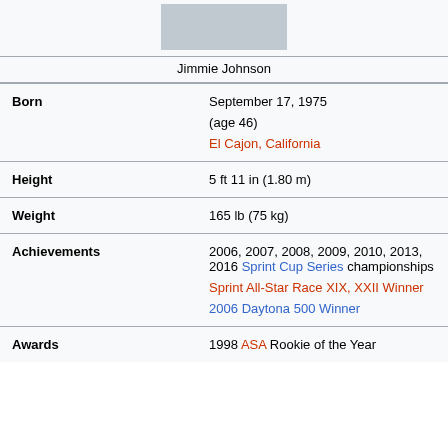[Figure (photo): Photo of Jimmie Johnson from the torso down wearing blue clothing]
Jimmie Johnson
| Born | September 17, 1975
(age 46)
El Cajon, California |
| Height | 5 ft 11 in (1.80 m) |
| Weight | 165 lb (75 kg) |
| Achievements | 2006, 2007, 2008, 2009, 2010, 2013, 2016 Sprint Cup Series championships
Sprint All-Star Race XIX, XXII Winner
2006 Daytona 500 Winner |
| Awards | 1998 ASA Rookie of the Year |